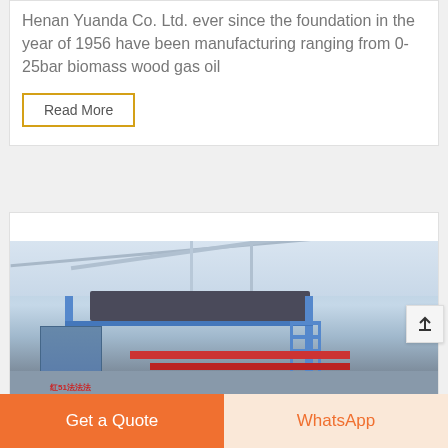Henan Yuanda Co. Ltd. ever since the foundation in the year of 1956 have been manufacturing ranging from 0-25bar biomass wood gas oil
Read More
[Figure (photo): Industrial factory interior showing metal scaffolding, blue structural supports, red piping, and overhead platform equipment inside a large warehouse or manufacturing facility.]